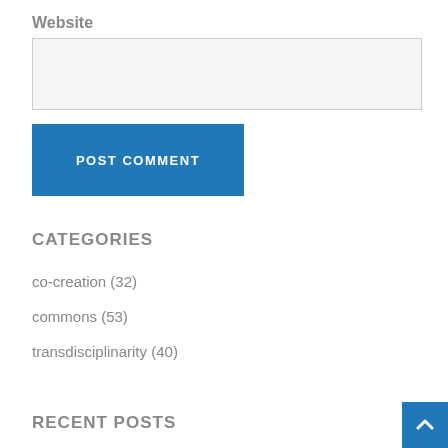Website
[Figure (screenshot): Empty text input field for Website URL]
[Figure (screenshot): POST COMMENT button, blue background with white uppercase text]
CATEGORIES
co-creation (32)
commons (53)
transdisciplinarity (40)
RECENT POSTS
[Figure (screenshot): Blue scroll-to-top arrow button in bottom right corner]